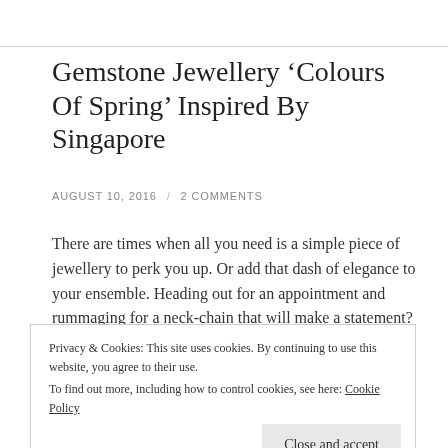Gemstone Jewellery ‘Colours Of Spring’ Inspired By Singapore
AUGUST 10, 2016 / 2 COMMENTS
There are times when all you need is a simple piece of jewellery to perk you up. Or add that dash of elegance to your ensemble. Heading out for an appointment and rummaging for a neck-chain that will make a statement? Yeah, sounds familiar to all of us.
Privacy & Cookies: This site uses cookies. By continuing to use this website, you agree to their use.
To find out more, including how to control cookies, see here: Cookie Policy
Close and accept